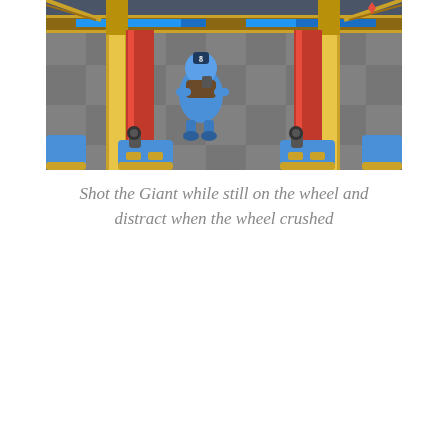[Figure (screenshot): Screenshot of a mobile game (Clash Royale style) showing a battle arena with a wooden gate/bridge, gold pillars, red towers, blue health bars at the top, a Giant character in the center, and two cannon units at the bottom left and right corners.]
Shot the Giant while still on the wheel and distract when the wheel crushed